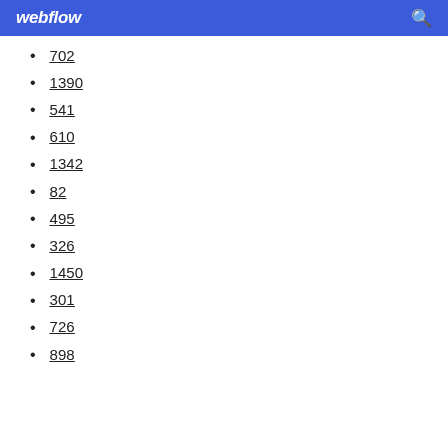webflow
702
1390
541
610
1342
82
495
326
1450
301
726
898